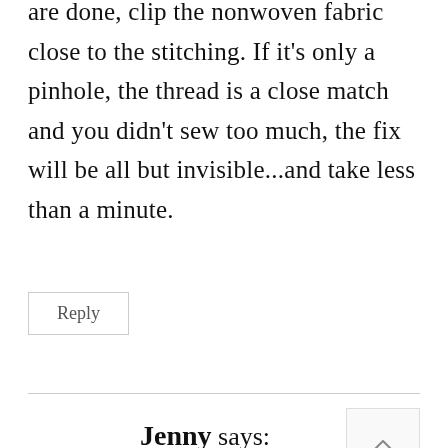are done, clip the nonwoven fabric close to the stitching. If it's only a pinhole, the thread is a close match and you didn't sew too much, the fix will be all but invisible...and take less than a minute.
Reply
Jenny says:
July 7, 2021 at 3:33 am